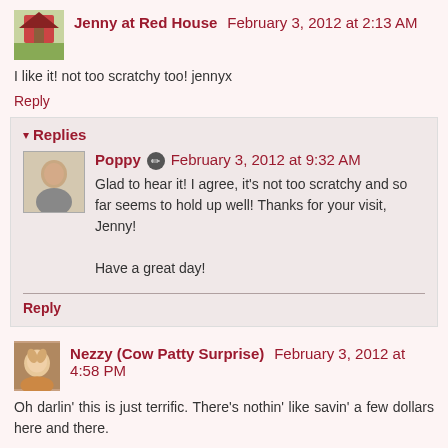Jenny at Red House  February 3, 2012 at 2:13 AM
I like it! not too scratchy too! jennyx
Reply
Replies
Poppy  February 3, 2012 at 9:32 AM
Glad to hear it! I agree, it's not too scratchy and so far seems to hold up well! Thanks for your visit, Jenny!

Have a great day!
Reply
Nezzy (Cow Patty Surprise)  February 3, 2012 at 4:58 PM
Oh darlin' this is just terrific. There's nothin' like savin' a few dollars here and there.
It's great that...